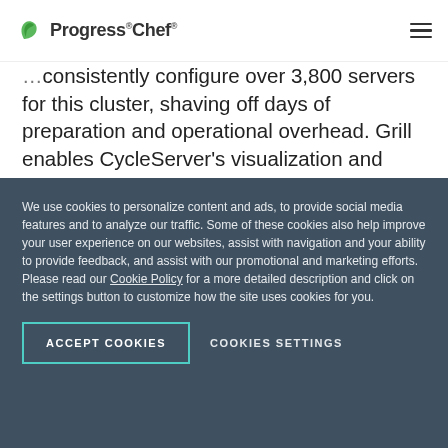Progress Chef
consistently configure over 3,800 servers for this cluster, shaving off days of preparation and operational overhead. Grill enables CycleServer's visualization and analytics-based alert technology to now support data about Chef installations.
For Nekomata, Cycle built a Grill view that shows a
We use cookies to personalize content and ads, to provide social media features and to analyze our traffic. Some of these cookies also help improve your user experience on our websites, assist with navigation and your ability to provide feedback, and assist with our promotional and marketing efforts. Please read our Cookie Policy for a more detailed description and click on the settings button to customize how the site uses cookies for you.
ACCEPT COOKIES
COOKIES SETTINGS